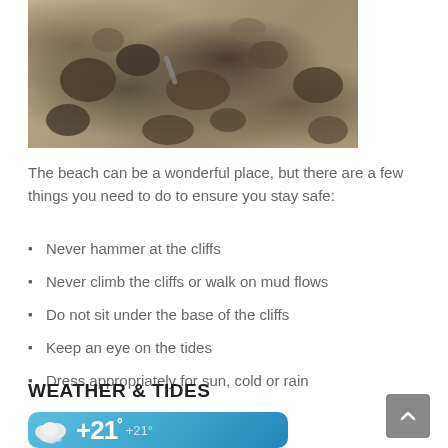[Figure (photo): Close-up photo of pebbles, rocks and gravel on a beach]
The beach can be a wonderful place, but there are a few things you need to do to ensure you stay safe:
Never hammer at the cliffs
Never climb the cliffs or walk on mud flows
Do not sit under the base of the cliffs
Keep an eye on the tides
Dress appropriately for sun, cold or rain
WEATHER & TIDES
[Figure (screenshot): Weather widget showing temperature +21°C with cloud icon on blue background]